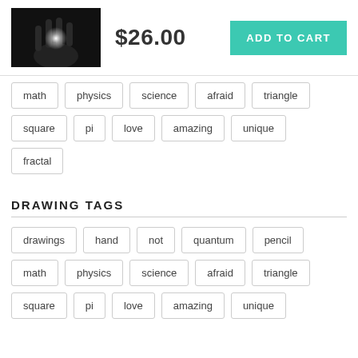[Figure (photo): Black and white product image showing a hand with glowing light/energy effect]
$26.00
ADD TO CART
math
physics
science
afraid
triangle
square
pi
love
amazing
unique
fractal
DRAWING TAGS
drawings
hand
not
quantum
pencil
math
physics
science
afraid
triangle
square
pi
love
amazing
unique